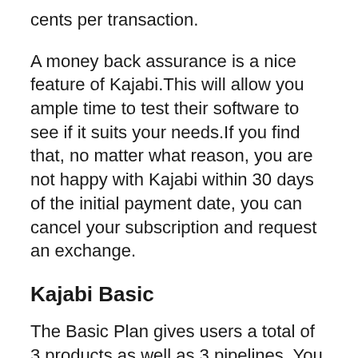cents per transaction.
A money back assurance is a nice feature of Kajabi.This will allow you ample time to test their software to see if it suits your needs.If you find that, no matter what reason, you are not happy with Kajabi within 30 days of the initial payment date, you can cancel your subscription and request an exchange.
Kajabi Basic
The Basic Plan gives users a total of 3 products as well as 3 pipelines. You can use as numerous landing pages and email marketing campaigns as you want in this plan.They are restricted to 10,000 contacts